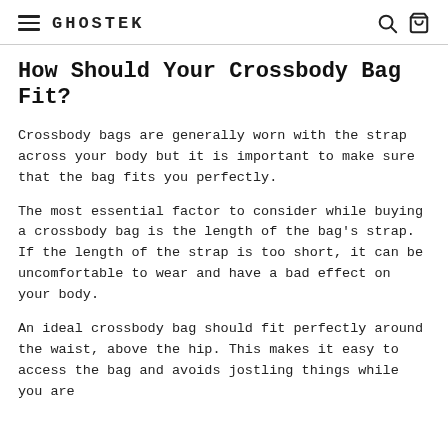GHOSTEK
How Should Your Crossbody Bag Fit?
Crossbody bags are generally worn with the strap across your body but it is important to make sure that the bag fits you perfectly.
The most essential factor to consider while buying a crossbody bag is the length of the bag's strap. If the length of the strap is too short, it can be uncomfortable to wear and have a bad effect on your body.
An ideal crossbody bag should fit perfectly around the waist, above the hip. This makes it easy to access the bag and avoids jostling things while you are